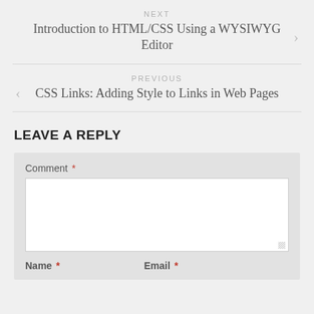NEXT
Introduction to HTML/CSS Using a WYSIWYG Editor
PREVIOUS
CSS Links: Adding Style to Links in Web Pages
LEAVE A REPLY
Comment *
Name *
Email *